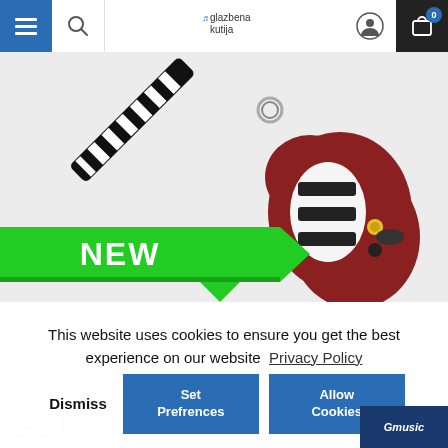glazbena kutija — navigation header with hamburger, search, logo, account, cart icons
[Figure (photo): Electric guitar keychain product photo on white/light grey background with green 'NEW' ribbon banner in lower left corner]
This website uses cookies to ensure you get the best experience on our website  Privacy Policy
Dismiss
Set Prefrences
Allow Cookies
GMUSIC ELECTRIC GUITAR KEYCHAIN